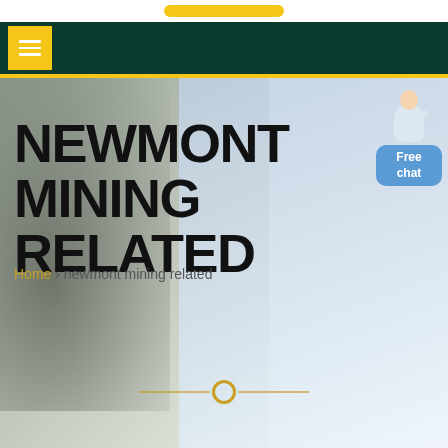[Figure (screenshot): Dark green navigation bar with yellow menu/hamburger button on the left]
[Figure (photo): Hero section with mining-themed background image (miner with equipment), faded on left and light blue/white on right]
NEWMONT MINING RELATED
Home > newmont mining related
[Figure (other): Small chat widget in top right with avatar and blue 'Free chat' button]